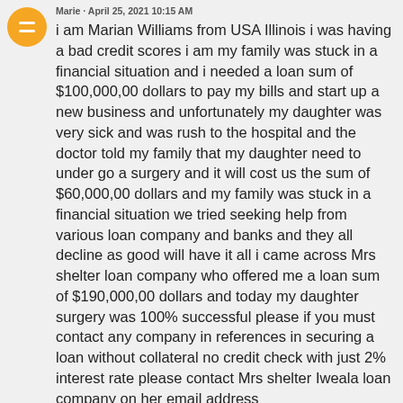Marie · April 25, 2021 10:15 AM
i am Marian Williams from USA Illinois i was having a bad credit scores i am my family was stuck in a financial situation and i needed a loan sum of $100,000,00 dollars to pay my bills and start up a new business and unfortunately my daughter was very sick and was rush to the hospital and the doctor told my family that my daughter need to under go a surgery and it will cost us the sum of $60,000,00 dollars and my family was stuck in a financial situation we tried seeking help from various loan company and banks and they all decline as good will have it all i came across Mrs shelter loan company who offered me a loan sum of $190,000,00 dollars and today my daughter surgery was 100% successful please if you must contact any company in references in securing a loan without collateral no credit check with just 2% interest rate please contact Mrs shelter Iweala loan company on her email address (mrshelterloanfirm@hotmail.com)